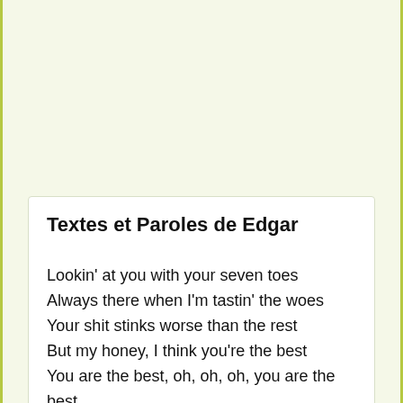Textes et Paroles de Edgar
Lookin' at you with your seven toes Always there when I'm tastin' the woes Your shit stinks worse than the rest But my honey, I think you're the best You are the best, oh, oh, oh, you are the best